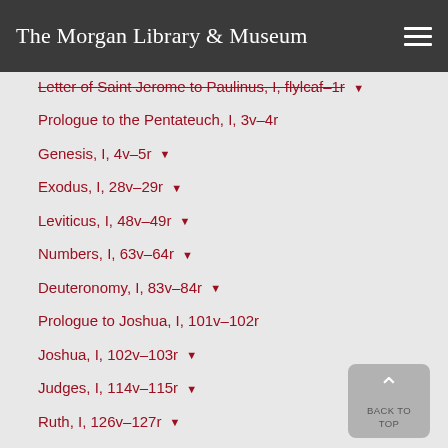The Morgan Library & Museum
Letter of Saint Jerome to Paulinus, I, flylcaf–1r
Prologue to the Pentateuch, I, 3v–4r
Genesis, I, 4v–5r
Exodus, I, 28v–29r
Leviticus, I, 48v–49r
Numbers, I, 63v–64r
Deuteronomy, I, 83v–84r
Prologue to Joshua, I, 101v–102r
Joshua, I, 102v–103r
Judges, I, 114v–115r
Ruth, I, 126v–127r